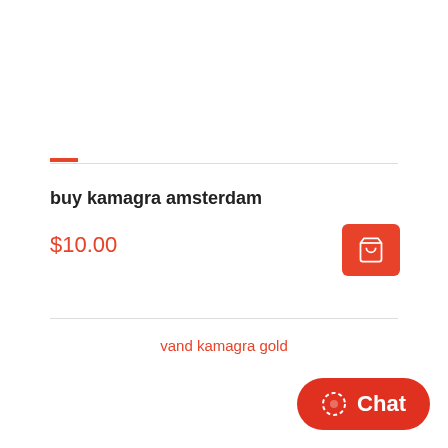buy kamagra amsterdam
$10.00
vand kamagra gold
Chat